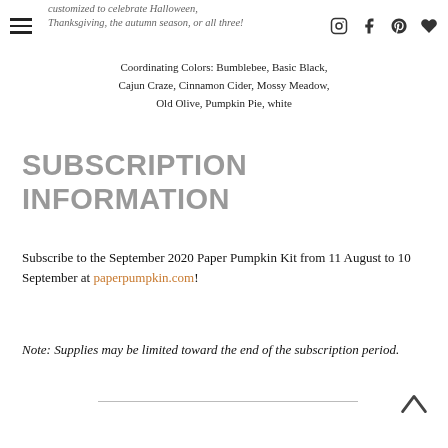customized to celebrate Halloween, Thanksgiving, the autumn season, or all three!
Coordinating Colors: Bumblebee, Basic Black, Cajun Craze, Cinnamon Cider, Mossy Meadow, Old Olive, Pumpkin Pie, white
SUBSCRIPTION INFORMATION
Subscribe to the September 2020 Paper Pumpkin Kit from 11 August to 10 September at paperpumpkin.com!
Note: Supplies may be limited toward the end of the subscription period.